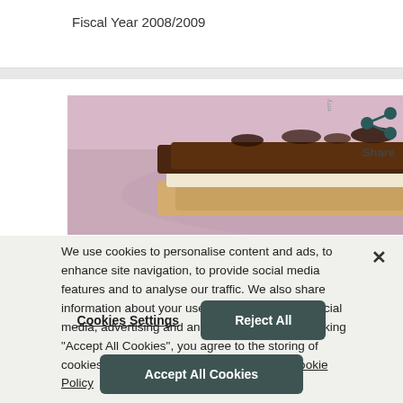Fiscal Year 2008/2009
[Figure (photo): Photo of chocolate bar pieces with chocolate shavings on top, on a light purple/pink background. A share icon and partial 'Share' text visible to the right.]
We use cookies to personalise content and ads, to enhance site navigation, to provide social media features and to analyse our traffic. We also share information about your use of our site with our social media, advertising and analytics partners. By clicking “Accept All Cookies”, you agree to the storing of cookies on your device. More Information: Cookie Policy
Cookies Settings
Reject All
Accept All Cookies